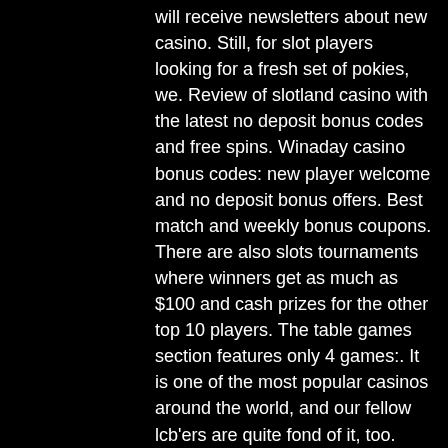will receive newsletters about new casino. Still, for slot players looking for a fresh set of pokies, we. Review of slotland casino with the latest no deposit bonus codes and free spins. Winaday casino bonus codes: new player welcome and no deposit bonus offers. Best match and weekly bonus coupons. There are also slots tournaments where winners get as much as $100 and cash prizes for the other top 10 players. The table games section features only 4 games:. It is one of the most popular casinos around the world, and our fellow lcb'ers are quite fond of it, too. Perhaps you've played here before, but in case the. Bonus code: free33kings · bonus type:new players no deposit bonus · permitted games:array · wagering. Game of the month: the online casino features a different game every month and players who choose to play the featured games stand to win cash prizes of up to. There is no active